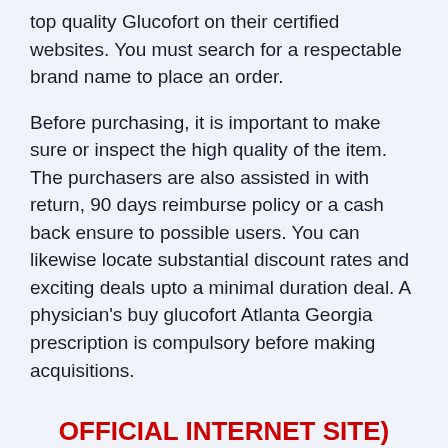top quality Glucofort on their certified websites. You must search for a respectable brand name to place an order.
Before purchasing, it is important to make sure or inspect the high quality of the item. The purchasers are also assisted in with return, 90 days reimburse policy or a cash back ensure to possible users. You can likewise locate substantial discount rates and exciting deals upto a minimal duration deal. A physician's buy glucofort Atlanta Georgia prescription is compulsory before making acquisitions.
OFFICIAL INTERNET SITE) Visit This Site To Obtain Glucofort For